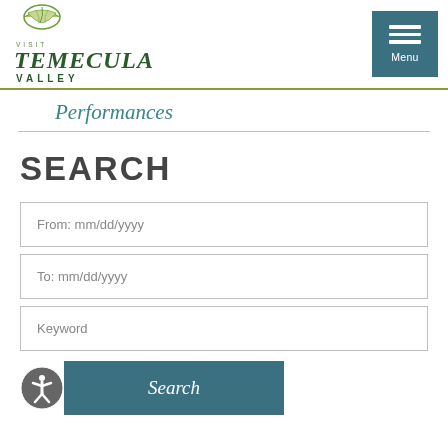[Figure (logo): Visit Temecula Valley logo with leaf graphic and stylized text]
Performances
SEARCH
From: mm/dd/yyyy
To: mm/dd/yyyy
Keyword
Search